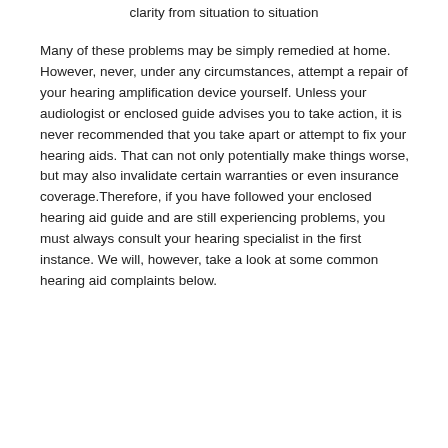clarity from situation to situation
Many of these problems may be simply remedied at home. However, never, under any circumstances, attempt a repair of your hearing amplification device yourself. Unless your audiologist or enclosed guide advises you to take action, it is never recommended that you take apart or attempt to fix your hearing aids. That can not only potentially make things worse, but may also invalidate certain warranties or even insurance coverage.Therefore, if you have followed your enclosed hearing aid guide and are still experiencing problems, you must always consult your hearing specialist in the first instance. We will, however, take a look at some common hearing aid complaints below.